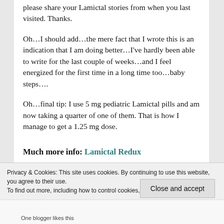please share your Lamictal stories from when you last visited. Thanks.
Oh…I should add…the mere fact that I wrote this is an indication that I am doing better…I've hardly been able to write for the last couple of weeks…and I feel energized for the first time in a long time too…baby steps….
Oh…final tip: I use 5 mg pediatric Lamictal pills and am now taking a quarter of one of them. That is how I manage to get a 1.25 mg dose.
Much more info: Lamictal Redux
Privacy & Cookies: This site uses cookies. By continuing to use this website, you agree to their use. To find out more, including how to control cookies, see here: Cookie Policy